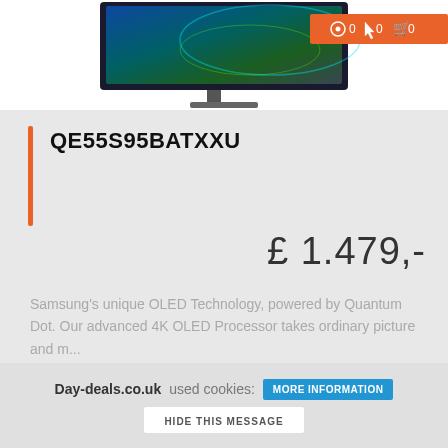[Figure (screenshot): Samsung OLED TV monitor product image at top of page]
QE55S95BATXXU
£ 1.479,-
Samsung's unique OLED Technology, powered by Quantum Dot. Our advanced 4K OLED Processor takes ordinary picture and m...
Electrical Discount  Bekijk >
Day-deals.co.uk used cookies: MORE INFORMATION HIDE THIS MESSAGE